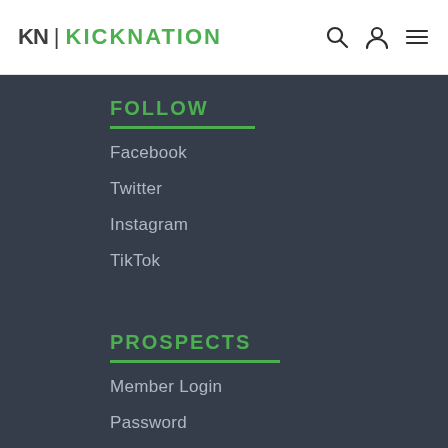KN | KICKNATION
FOLLOW
Facebook
Twitter
Instagram
TikTok
PROSPECTS
Member Login
Password